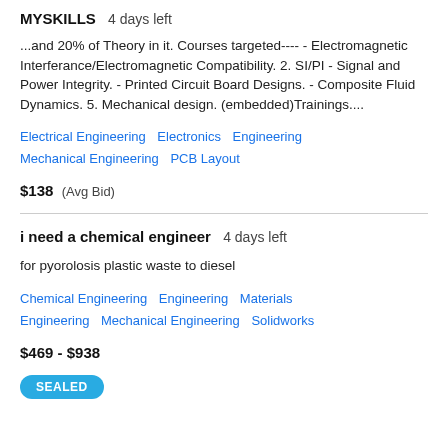MYSKILLS  4 days left
...and 20% of Theory in it. Courses targeted---- - Electromagnetic Interferance/Electromagnetic Compatibility. 2. SI/PI - Signal and Power Integrity. - Printed Circuit Board Designs. - Composite Fluid Dynamics. 5. Mechanical design. (embedded)Trainings....
Electrical Engineering   Electronics   Engineering   Mechanical Engineering   PCB Layout
$138  (Avg Bid)
i need a chemical engineer  4 days left
for pyorolosis plastic waste to diesel
Chemical Engineering   Engineering   Materials Engineering   Mechanical Engineering   Solidworks
$469 - $938
SEALED